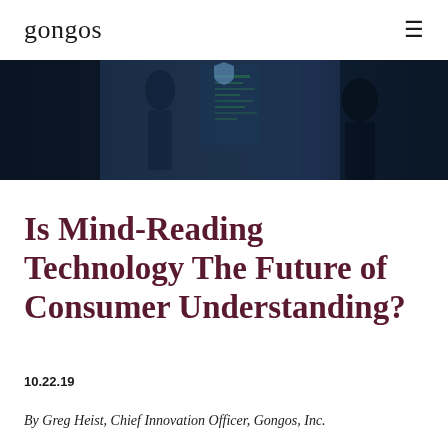gongos
[Figure (photo): Dark atmospheric photo showing a person or scene with digital/tech overlay elements in blue and dark tones]
Is Mind-Reading Technology The Future of Consumer Understanding?
10.22.19
By Greg Heist, Chief Innovation Officer, Gongos, Inc.